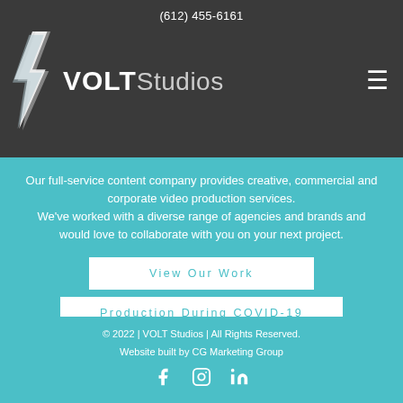(612) 455-6161
[Figure (logo): VOLT Studios logo with lightning bolt icon on dark background, hamburger menu icon on right]
Our full-service content company provides creative, commercial and corporate video production services.
We've worked with a diverse range of agencies and brands and would love to collaborate with you on your next project.
View Our Work
Production During COVID-19
Get In Touch
© 2022 | VOLT Studios | All Rights Reserved.
Website built by CG Marketing Group